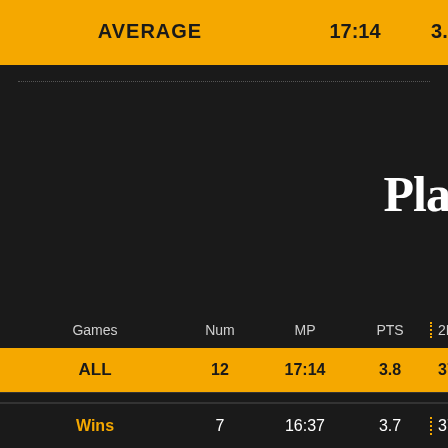| Games | Num | MP | PTS | 2FG |
| --- | --- | --- | --- | --- |
| AVERAGE | 17:14 | 3.8 | 1/2.67 | 0. |
| ALL | 12 | 17:14 | 3.8 | 37.5% |
| Home | 5 | 17:12 | 3.8 | 33.3% |
| Away | 7 | 17:14 | 3.9 | 40% |
| Wins | 7 | 16:37 | 3.7 | 37.5% |
Play